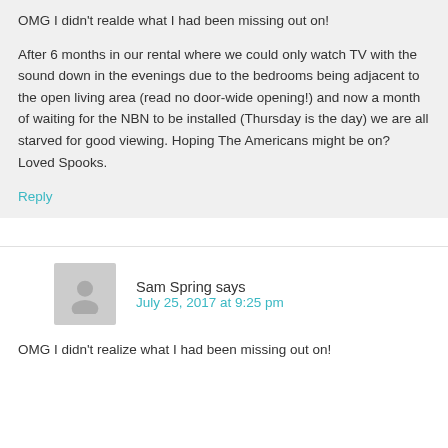OMG I didn't realde what I had been missing out on!
After 6 months in our rental where we could only watch TV with the sound down in the evenings due to the bedrooms being adjacent to the open living area (read no door-wide opening!) and now a month of waiting for the NBN to be installed (Thursday is the day) we are all starved for good viewing. Hoping The Americans might be on? Loved Spooks.
Reply
Sam Spring says
July 25, 2017 at 9:25 pm
OMG I didn't realize what I had been missing out on!